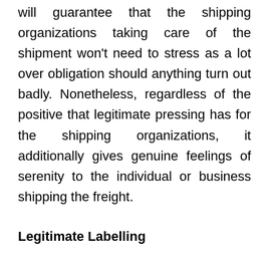will guarantee that the shipping organizations taking care of the shipment won't need to stress as a lot over obligation should anything turn out badly. Nonetheless, regardless of the positive that legitimate pressing has for the shipping organizations, it additionally gives genuine feelings of serenity to the individual or business shipping the freight.
Legitimate Labelling
International shipping guidelines have severe codes that should be followed with regards to naming a shipment. Without the legitimate names, the freight can lose all sense of direction on the